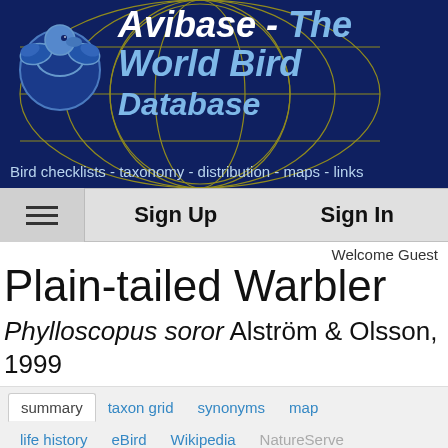Avibase - The World Bird Database — Bird checklists - taxonomy - distribution - maps - links
[Figure (logo): Avibase globe logo with bird silhouette, dark blue background with yellow grid lines]
Welcome Guest
Plain-tailed Warbler
Phylloscopus soror Alström & Olsson, 1999
summary
taxon grid
synonyms
map
life history
eBird
Wikipedia
NatureServe